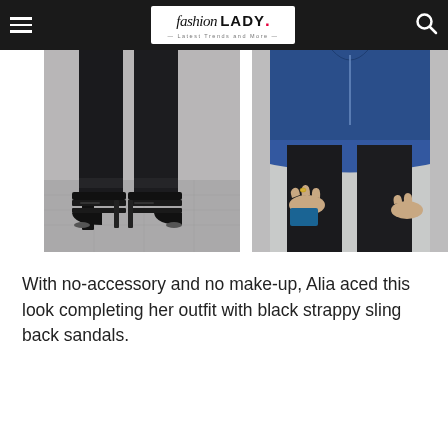fashion LADY — Latest Trends and More —
[Figure (photo): Close-up of black skinny jeans cuffed at the ankle with black strappy sling back high heel sandals on a concrete surface]
[Figure (photo): Close-up of a woman's torso wearing a blue ruffled/peplum top and black jeans, hands visible with a ring]
With no-accessory and no make-up, Alia aced this look completing her outfit with black strappy sling back sandals.